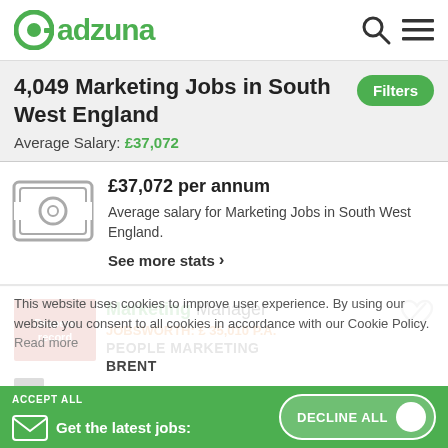adzuna logo with search and menu icons
4,049 Marketing Jobs in South West England
Average Salary: £37,072
£37,072 per annum
Average salary for Marketing Jobs in South West England.
See more stats
Marketing Manager
JOBSWORTH: £ 35,010 P.A.
PEOPLE MARKETING
BRENT
This website uses cookies to improve user experience. By using our website you consent to all cookies in accordance with our Cookie Policy.
Read more
ACCEPT ALL
Get the latest jobs:
DECLINE ALL